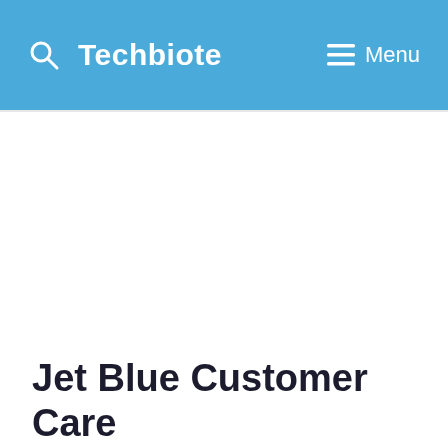Techbiote | Menu
Jet Blue Customer Care Numbers | Contact